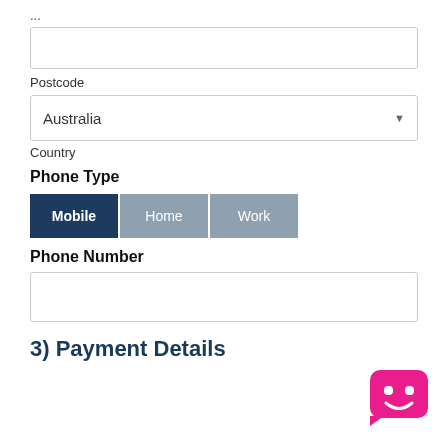...
Postcode
Country
Phone Type
Mobile | Home | Work
Phone Number
3) Payment Details